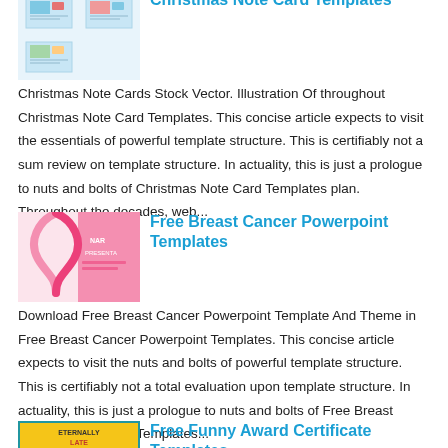Christmas Note Card Templates
Christmas Note Cards Stock Vector. Illustration Of throughout Christmas Note Card Templates. This concise article expects to visit the essentials of powerful template structure. This is certifiably not a sum review on template structure. In actuality, this is just a prologue to nuts and bolts of Christmas Note Card Templates plan. Throughout the decades, web...
Free Breast Cancer Powerpoint Templates
Download Free Breast Cancer Powerpoint Template And Theme in Free Breast Cancer Powerpoint Templates. This concise article expects to visit the nuts and bolts of powerful template structure. This is certifiably not a total evaluation upon template structure. In actuality, this is just a prologue to nuts and bolts of Free Breast Cancer Powerpoint Templates...
Free Funny Award Certificate Templates